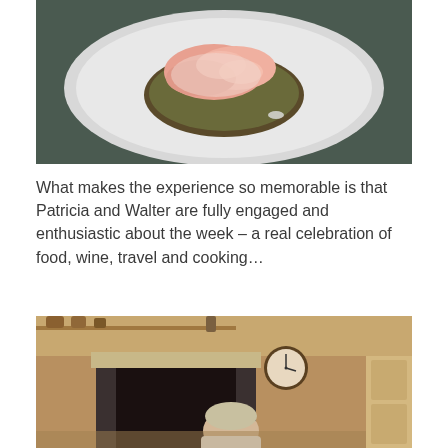[Figure (photo): Top-down view of a plate of shrimp/prawn dish served on a bed of grains or quinoa, on a white plate, dark background]
What makes the experience so memorable is that Patricia and Walter are fully engaged and enthusiastic about the week – a real celebration of food, wine, travel and cooking…
[Figure (photo): Person with blonde/grey hair leaning over a kitchen counter or table, with a fireplace, clock on mantle, and kitchen shelves visible in the background, warm amber tones]